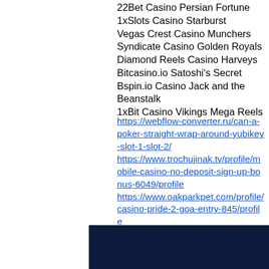22Bet Casino Persian Fortune
1xSlots Casino Starburst
Vegas Crest Casino Munchers
Syndicate Casino Golden Royals
Diamond Reels Casino Harveys
Bitcasino.io Satoshi's Secret
Bspin.io Casino Jack and the Beanstalk
1xBit Casino Vikings Mega Reels
https://webflow-converter.ru/can-a-poker-straight-wrap-around-yubikey-slot-1-slot-2/ https://www.trochujinak.tv/profile/mobile-casino-no-deposit-sign-up-bonus-6049/profile https://www.oakparkpet.com/profile/casino-pride-2-goa-entry-845/profile https://snow.ewebcreative.com/community/profile/casinoen25904242/